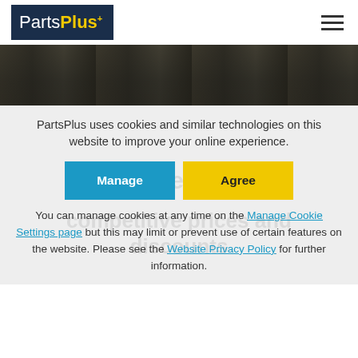[Figure (logo): PartsPlus logo on dark navy background with yellow Plus text and superscript plus sign]
[Figure (photo): Dark warehouse shelving photo used as banner background]
PartsPlus uses cookies and similar technologies on this website to improve your online experience.
Manage | Agree (cookie consent buttons)
You can manage cookies at any time on the Manage Cookie Settings page but this may limit or prevent use of certain features on the website. Please see the Website Privacy Policy for further information.